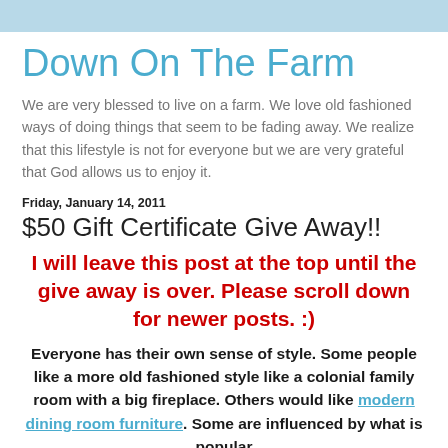Down On The Farm
We are very blessed to live on a farm. We love old fashioned ways of doing things that seem to be fading away. We realize that this lifestyle is not for everyone but we are very grateful that God allows us to enjoy it.
Friday, January 14, 2011
$50 Gift Certificate Give Away!!
I will leave this post at the top until the give away is over. Please scroll down for newer posts. :)
Everyone has their own sense of style. Some people like a more old fashioned style like a colonial family room with a big fireplace. Others would like modern dining room furniture. Some are influenced by what is popular